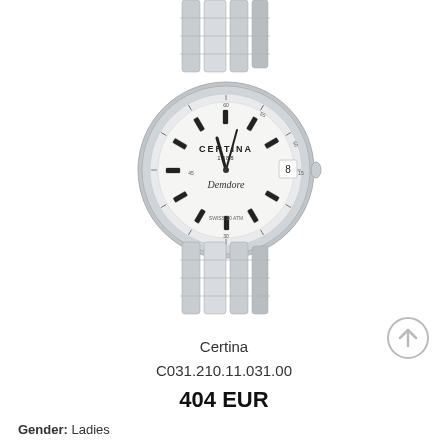[Figure (photo): Certina ladies stainless steel bracelet watch with white dial, showing CERTINA 1888 branding and Prezdora script, date window at 3 o'clock, silver bracelet, viewed from front]
Certina
C031.210.11.031.00
404 EUR
Gender: Ladies